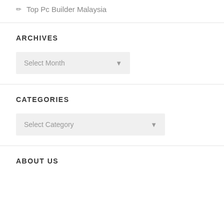✏ Top Pc Builder Malaysia
ARCHIVES
Select Month
CATEGORIES
Select Category
ABOUT US